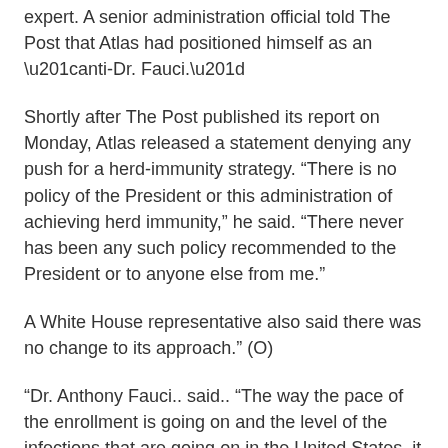expert. A senior administration official told The Post that Atlas had positioned himself as an “anti-Dr. Fauci.”
Shortly after The Post published its report on Monday, Atlas released a statement denying any push for a herd-immunity strategy. “There is no policy of the President or this administration of achieving herd immunity,” he said. “There never has been any such policy recommended to the President or to anyone else from me.”
A White House representative also said there was no change to its approach.” (O)
“Dr. Anthony Fauci.. said.. “The way the pace of the enrollment is going on and the level of the infections that are going on in the United States, it is likely that we’ll get an answer by the end of the year.”..
“I would say a safe bet is at least knowing that you have a